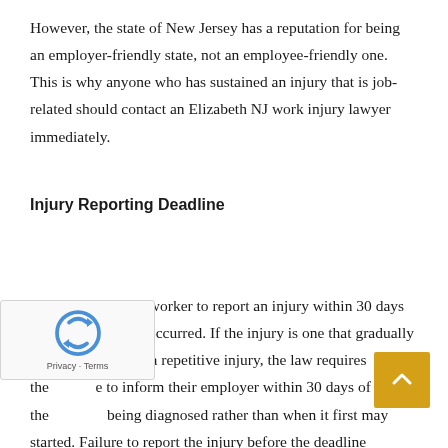However, the state of New Jersey has a reputation for being an employer-friendly state, not an employee-friendly one. This is why anyone who has sustained an injury that is job-related should contact an Elizabeth NJ work injury lawyer immediately.
Injury Reporting Deadline
The law requires a worker to report an injury within 30 days of when the injury occurred. If the injury is one that gradually developed, such as a repetitive injury, the law requires the [employe]e to inform their employer within 30 days of the [condition] being diagnosed rather than when it first may [have star]ted. Failure to report the injury before the deadline...